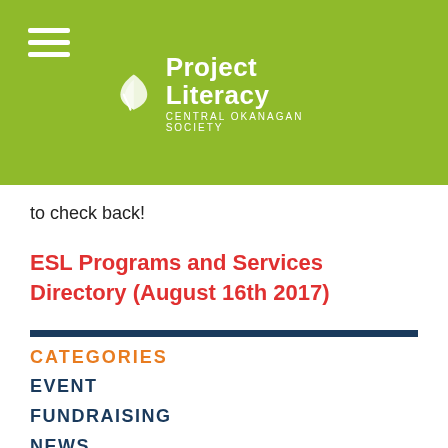[Figure (logo): Project Literacy Central Okanagan Society logo with leaf icon on green background, with hamburger menu icon]
to check back!
ESL Programs and Services Directory (August 16th 2017)
CATEGORIES
EVENT
FUNDRAISING
NEWS
UNCATEGORIZED